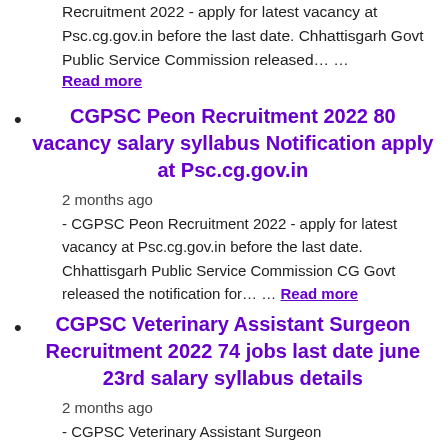Recruitment 2022 - apply for latest vacancy at Psc.cg.gov.in before the last date. Chhattisgarh Govt Public Service Commission released… …
Read more
CGPSC Peon Recruitment 2022 80 vacancy salary syllabus Notification apply at Psc.cg.gov.in
2 months ago
- CGPSC Peon Recruitment 2022 - apply for latest vacancy at Psc.cg.gov.in before the last date. Chhattisgarh Public Service Commission CG Govt released the notification for… … Read more
CGPSC Veterinary Assistant Surgeon Recruitment 2022 74 jobs last date june 23rd salary syllabus details
2 months ago
- CGPSC Veterinary Assistant Surgeon